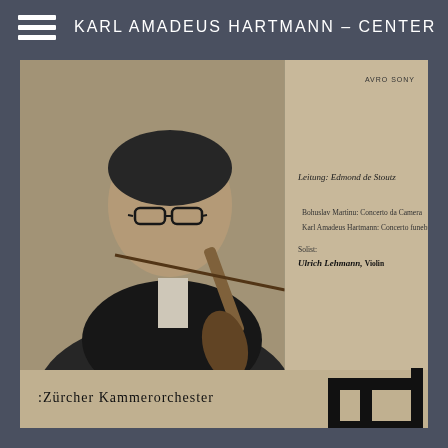KARL AMADEUS HARTMANN – CENTER
[Figure (photo): Album cover for Zürcher Kammerorchester (Zurich Chamber Orchestra). Shows a black and white photograph of a male violinist on the left half, wearing glasses and a bow tie, holding a violin. The right half of the album cover contains text: 'Leitung: Edmond de Stoutz', 'Bohuslav Martinu: Concerto da Camera', 'Karl Amadeus Hartmann: Concerto funebre', 'Solist: Ulrich Lehmann, Violin'. At the bottom is the text 'Zürcher Kammerorchester' with the orchestra's geometric logo. The album has a light beige/cream background and the label 'AVRO SONY' appears at the top right.]